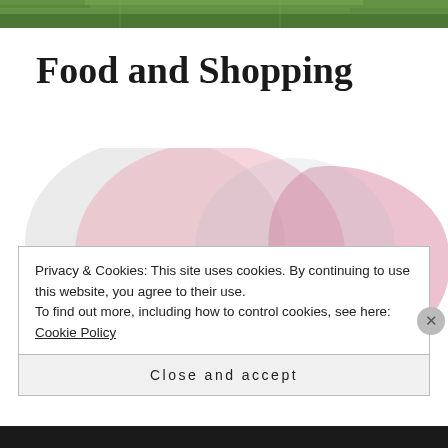[Figure (photo): Green field/grass landscape photo strip at top of page]
Food and Shopping
[Figure (illustration): Decorative abstract pink and grey watercolor blob shapes with a dark/black rectangular image overlay in the center]
Privacy & Cookies: This site uses cookies. By continuing to use this website, you agree to their use.
To find out more, including how to control cookies, see here: Cookie Policy
Close and accept